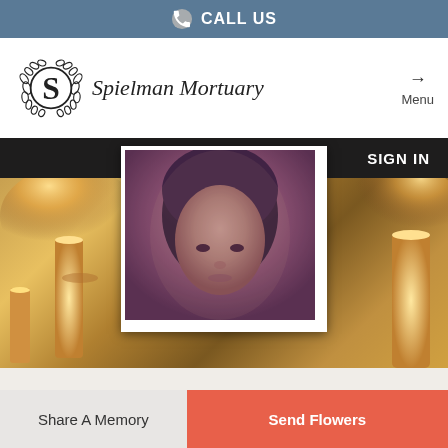CALL US
[Figure (logo): Spielman Mortuary logo with ornate letter S in wreath]
Spielman Mortuary
Menu
[Figure (photo): Memorial page showing portrait of a woman framed with candles in background, with SIGN IN button in top right]
Share A Memory
Send Flowers